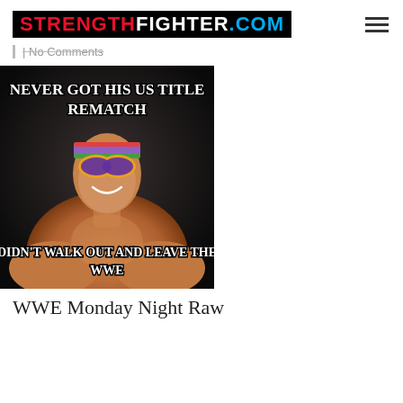STRENGTHFIGHTER.COM
| No Comments
[Figure (photo): WWE meme featuring a wrestler wearing colorful sunglasses and headband. Top text: 'NEVER GOT HIS US TITLE REMATCH'. Bottom text: 'DIDN’T WALK OUT AND LEAVE THE WWE'.]
WWE Monday Night Raw